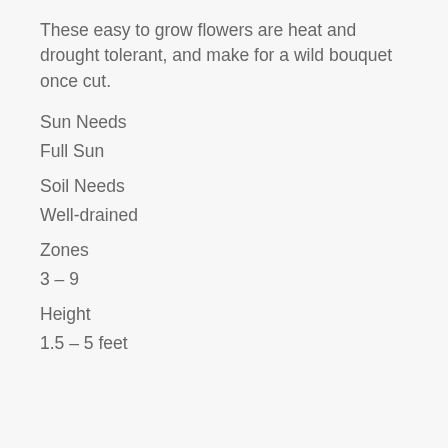These easy to grow flowers are heat and drought tolerant, and make for a wild bouquet once cut.
Sun Needs
Full Sun
Soil Needs
Well-drained
Zones
3 – 9
Height
1.5 – 5 feet